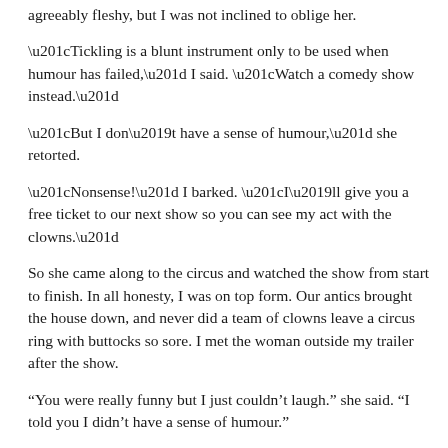agreeably fleshy, but I was not inclined to oblige her.
“Tickling is a blunt instrument only to be used when humour has failed,” I said. “Watch a comedy show instead.”
“But I don’t have a sense of humour,” she retorted.
“Nonsense!” I barked. “I’ll give you a free ticket to our next show so you can see my act with the clowns.”
So she came along to the circus and watched the show from start to finish. In all honesty, I was on top form. Our antics brought the house down, and never did a team of clowns leave a circus ring with buttocks so sore. I met the woman outside my trailer after the show.
“You were really funny but I just couldn’t laugh.” she said. “I told you I didn’t have a sense of humour.”
I stared at her grimly. Perhaps there was a defect in her brain that prevented her from reacting normally to the sight of clowns getting their arses repeatedly kicked.